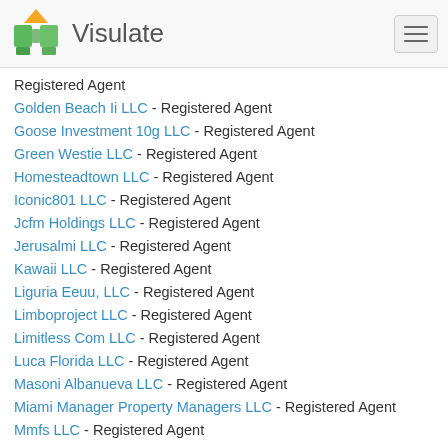Visulate
Registered Agent
Golden Beach Ii LLC - Registered Agent
Goose Investment 10g LLC - Registered Agent
Green Westie LLC - Registered Agent
Homesteadtown LLC - Registered Agent
Iconic801 LLC - Registered Agent
Jcfm Holdings LLC - Registered Agent
Jerusalmi LLC - Registered Agent
Kawaii LLC - Registered Agent
Liguria Eeuu, LLC - Registered Agent
Limboproject LLC - Registered Agent
Limitless Com LLC - Registered Agent
Luca Florida LLC - Registered Agent
Masoni Albanueva LLC - Registered Agent
Miami Manager Property Managers LLC - Registered Agent
Mmfs LLC - Registered Agent
One Miami 1924 LLC - Registered